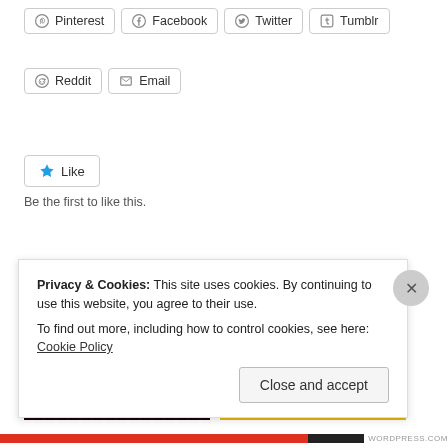Pinterest
Facebook
Twitter
Tumblr
Reddit
Email
[Figure (other): Like button with blue star icon]
Be the first to like this.
Related
[Figure (photo): Sam Raimi's Evil Dead movie poster - dark red background with title text]
[Figure (photo): Second movie image with yellow background showing person with camera]
Privacy & Cookies: This site uses cookies. By continuing to use this website, you agree to their use.
To find out more, including how to control cookies, see here: Cookie Policy
Close and accept